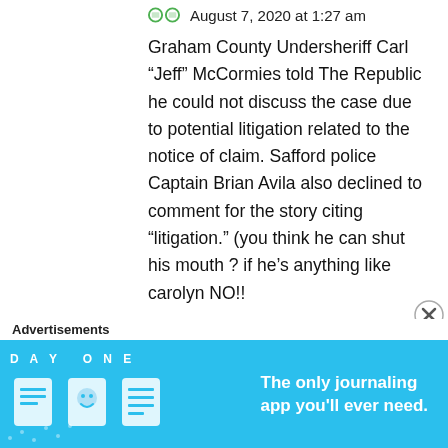August 7, 2020 at 1:27 am
Graham County Undersheriff Carl “Jeff” McCormies told The Republic he could not discuss the case due to potential litigation related to the notice of claim. Safford police Captain Brian Avila also declined to comment for the story citing “litigation.” (you think he can shut his mouth ? if he’s anything like carolyn NO!! CARL McCormies...
Advertisements
[Figure (screenshot): DAY ONE app advertisement banner: blue background with illustrated icons and text 'The only journaling app you'll ever need.']